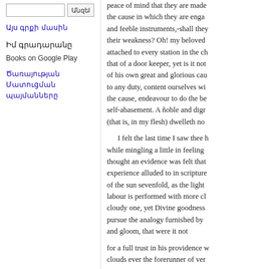Անզեl (search button)
Այս գրքի մասին
Իմ գրադարանը
Books on Google Play
Ծառայության Մատուցման պայմանները
peace of mind that they are made the cause in which they are enga and feeble instruments,-shall they their weakness? Oh! my beloved attached to every station in the ch that of a door keeper, yet is it not of his own great and glorious cau to any duty, content ourselves wi the cause, endeavour to do the be self-abasement. A ñoble and digr (that is, in my flesh) dwelleth no
I felt the last time I saw thee h while mingling a little in feeling thought an evidence was felt that experience alluded to in scripture of the sun sevenfold, as the light labour is performed with more cl cloudy one, yet Divine goodness pursue the analogy furnished by and gloom, that were it not
for a full trust in his providence w clouds ever the forerunner of ver